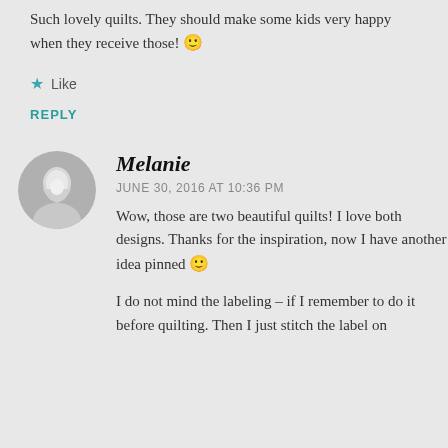Such lovely quilts. They should make some kids very happy when they receive those! 🙂
★ Like
REPLY
Melanie
JUNE 30, 2016 AT 10:36 PM
Wow, those are two beautiful quilts! I love both designs. Thanks for the inspiration, now I have another idea pinned 🙂
I do not mind the labeling – if I remember to do it before quilting. Then I just stitch the label on